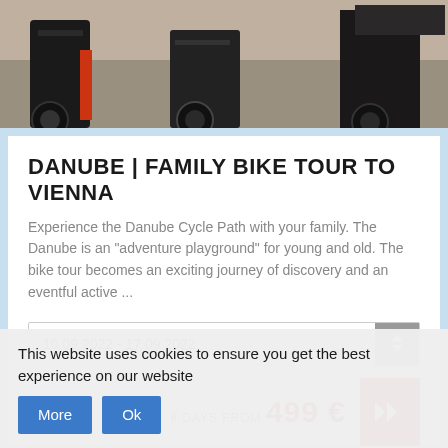[Figure (photo): Top portion of photo showing people on bicycles, partial view of bike frames, wheels, and riders' legs on a path]
DANUBE | FAMILY BIKE TOUR TO VIENNA
Experience the Danube Cycle Path with your family. The Danube is an "adventure playground" for young and old. The bike tour becomes an exciting journey of discovery and an eventful active ...
10.09.2022 - 17.09.2022
8 DAYS FROM 499 €
[Figure (photo): Bottom portion showing green trees/forest scenery]
This website uses cookies to ensure you get the best experience on our website